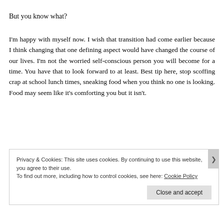But you know what?
I'm happy with myself now. I wish that transition had come earlier because I think changing that one defining aspect would have changed the course of our lives. I'm not the worried self-conscious person you will become for a time. You have that to look forward to at least. Best tip here, stop scoffing crap at school lunch times, sneaking food when you think no one is looking. Food may seem like it's comforting you but it isn't.
Privacy & Cookies: This site uses cookies. By continuing to use this website, you agree to their use.
To find out more, including how to control cookies, see here: Cookie Policy
Close and accept